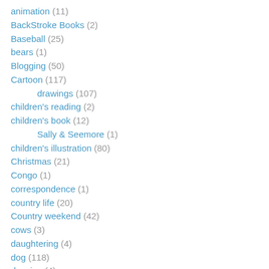animation (11)
BackStroke Books (2)
Baseball (25)
bears (1)
Blogging (50)
Cartoon (117)
drawings (107)
children's reading (2)
children's book (12)
Sally & Seemore (1)
children's illustration (80)
Christmas (21)
Congo (1)
correspondence (1)
country life (20)
Country weekend (42)
cows (3)
daughtering (4)
dog (118)
drawing (4)